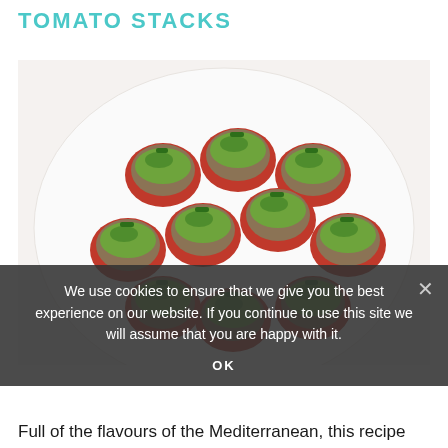TOMATO STACKS
[Figure (photo): A white plate piled with tomato stacks topped with sliced avocado and chopped green herbs, viewed from above.]
We use cookies to ensure that we give you the best experience on our website. If you continue to use this site we will assume that you are happy with it.
OK
Full of the flavours of the Mediterranean, this recipe